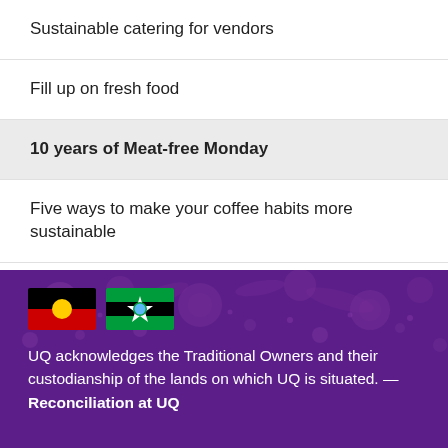Sustainable catering for vendors
Fill up on fresh food
10 years of Meat-free Monday
Five ways to make your coffee habits more sustainable
UQ acknowledges the Traditional Owners and their custodianship of the lands on which UQ is situated. — Reconciliation at UQ